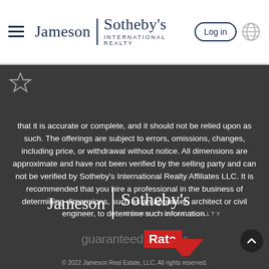[Figure (logo): Jameson Sotheby's International Realty logo with hamburger menu and Log in button in white header]
[Figure (illustration): Star/bookmark icon outline in gray]
that it is accurate or complete, and it should not be relied upon as such. The offerings are subject to errors, omissions, changes, including price, or withdrawal without notice. All dimensions are approximate and have not been verified by the selling party and can not be verified by Sotheby's International Realty Affiliates LLC. It is recommended that you hire a professional in the business of determining dimensions, such as an appraiser, architect or civil engineer, to determine such information.
[Figure (logo): Jameson Sotheby's International Realty logo in white on dark background]
[Figure (logo): guaranteed Rate logo with red box and red downward arrow]
© 2022 Jameson Real Estate, LLC. All rights reserved.